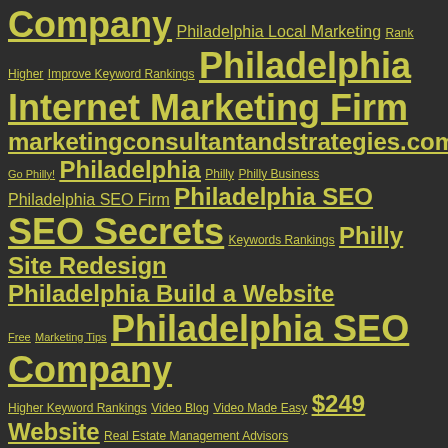[Figure (infographic): Tag cloud with yellow-green hyperlinked text on dark background. Terms include: Company, Philadelphia Local Marketing, Rank Higher, Improve Keyword Rankings, Philadelphia Internet Marketing Firm, marketingconsultantandstrategies.com, Go Philly!, Philadelphia, Philly, Philly Business, Philadelphia SEO Firm, Philadelphia SEO, SEO Secrets, Keywords Rankings, Philly Site Redesign, Philadelphia Build a Website, Free, Marketing Tips, Philadelphia SEO Company, Higher Keyword Rankings, Video Blog, Video Made Easy, $249 Website, Real Estate Management Advisors, www.reinfo411.com, Marketing on a Budget, marketing consultant and strategies, Philadelphia Marketing, www.marketingconsultantandstrategies.com]